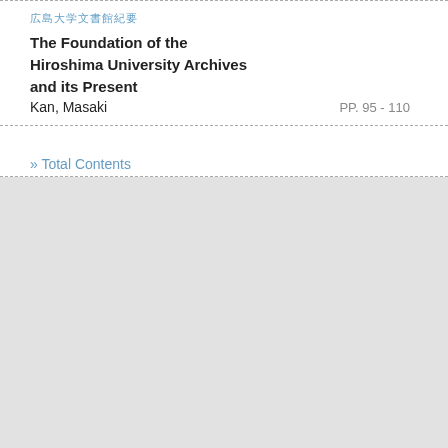広島大学文書館紀要
The Foundation of the Hiroshima University Archives and its Present
Kan, Masaki
PP. 95 - 110
» Total Contents